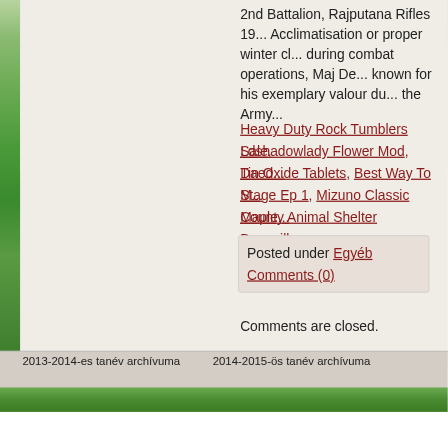[Figure (photo): Left sidebar nature/grass photo strip and background nature scene]
2nd Battalion, Rajputana Rifles 19... Acclimatisation or proper winter c... during combat operations, Maj De... known for his exemplary valour du... the Army...
Heavy Duty Rock Tumblers Sale,
Ldshadowlady Flower Mod, Daed...
Tin Oxide Tablets, Best Way To M...
Stage Ep 1, Mizuno Classic Maple...
County Animal Shelter Berryville,...
Posted under Egyéb
Comments (0)
Comments are closed.
2013-2014-es tanév archívuma    2014-2015-ös tanév archívuma